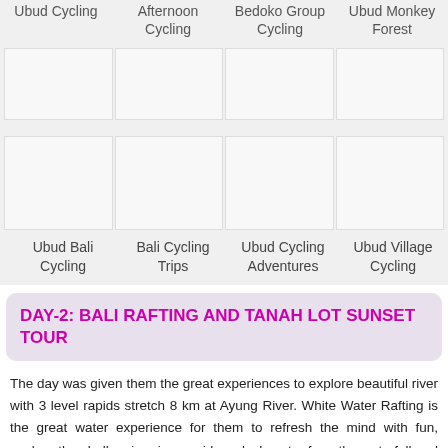| Ubud Cycling | Afternoon Cycling | Bedoko Group Cycling | Ubud Monkey Forest |
| --- | --- | --- | --- |
|  |
| Ubud Bali Cycling | Bali Cycling Trips | Ubud Cycling Adventures | Ubud Village Cycling |
| --- | --- | --- | --- |
|  |
DAY-2: BALI RAFTING AND TANAH LOT SUNSET TOUR
The day was given them the great experiences to explore beautiful river with 3 level rapids stretch 8 km at Ayung River. White Water Rafting is the great water experience for them to refresh the mind with fun, explore the challenging river rapids, splash water from the waterfall and discover the beautiful nature